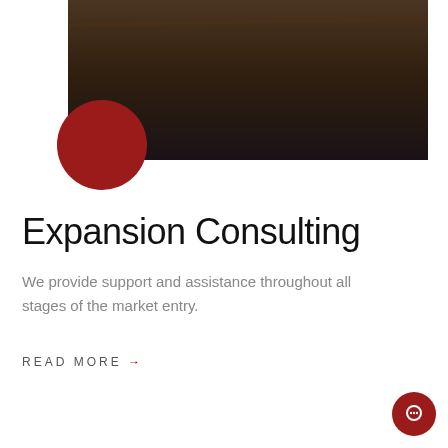[Figure (photo): Dark moody photo of a wooden surface or desk, partially visible at the top of the page with a large dark red/crimson circle overlapping the bottom-left corner of the image]
Expansion Consulting
We provide support and assistance throughout all stages of the market entry.
READ MORE →
[Figure (illustration): Small dark red circular chat/messenger button icon in the bottom-right corner]